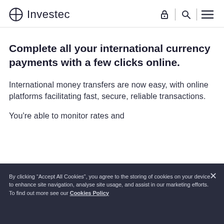Investec
Complete all your international currency payments with a few clicks online.
International money transfers are now easy, with online platforms facilitating fast, secure, reliable transactions.
You're able to monitor rates and
By clicking “Accept All Cookies”, you agree to the storing of cookies on your device to enhance site navigation, analyse site usage, and assist in our marketing efforts. To find out more see our Cookies Policy